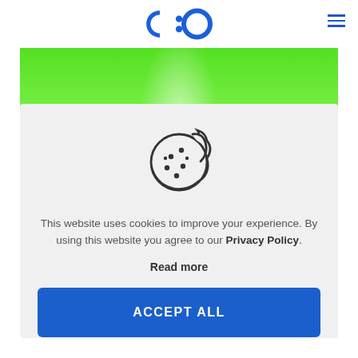C:O logo and hamburger menu
[Figure (illustration): Green banner background with light radial gradient at bottom center]
[Figure (illustration): Cookie icon: circular cookie shape with bite taken out at top-right, dots inside representing chocolate chips, outlined in dark gray]
This website uses cookies to improve your experience. By using this website you agree to our Privacy Policy.
Read more
ACCEPT ALL